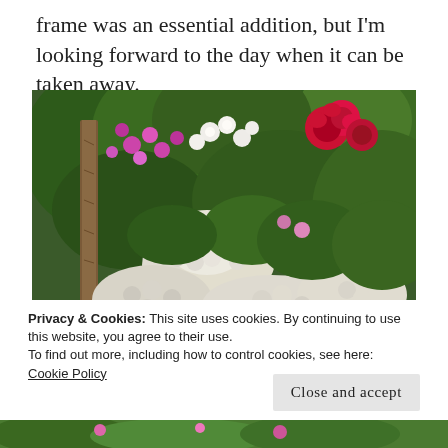frame was an essential addition, but I'm looking forward to the day when it can be taken away.
[Figure (photo): Garden photo showing lush green foliage with blooming hydrangeas in white/cream, pink flowers, red roses in the upper right, and a wooden post on the left side, against a backdrop of dense green shrubbery.]
Privacy & Cookies: This site uses cookies. By continuing to use this website, you agree to their use.
To find out more, including how to control cookies, see here:
Cookie Policy
Close and accept
[Figure (photo): Partial bottom strip of another garden photo.]